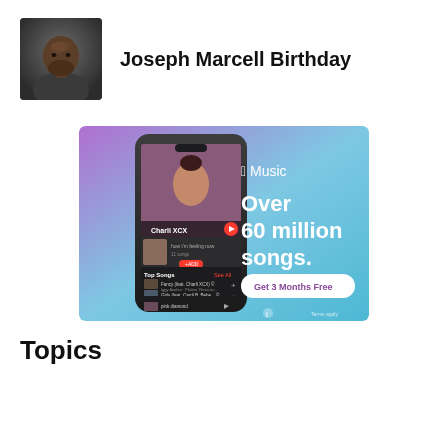[Figure (photo): Profile photo of Joseph Marcell, a man in dark clothing against a dark background]
Joseph Marcell Birthday
[Figure (screenshot): Apple Music advertisement showing Over 60 million songs with Get 3 Months Free offer, featuring Charli XCX on an iPhone screen]
Topics